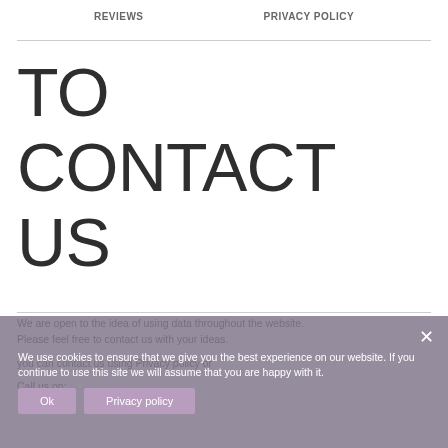REVIEWS   PRIVACY POLICY
TO CONTACT US
We are open to the idea of using data throughout the website. Please feel free to contact us with your ideas.
you can contact us using Privacy policy or
Call us on:
We use cookies to ensure that we give you the best experience on our website. If you continue to use this site we will assume that you are happy with it.